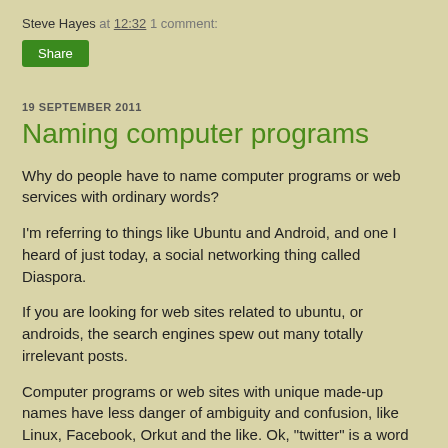Steve Hayes at 12:32   1 comment:
Share
19 SEPTEMBER 2011
Naming computer programs
Why do people have to name computer programs or web services with ordinary words?
I'm referring to things like Ubuntu and Android, and one I heard of just today, a social networking thing called Diaspora.
If you are looking for web sites related to ubuntu, or androids, the search engines spew out many totally irrelevant posts.
Computer programs or web sites with unique made-up names have less danger of ambiguity and confusion, like Linux, Facebook, Orkut and the like. Ok, "twitter" is a word